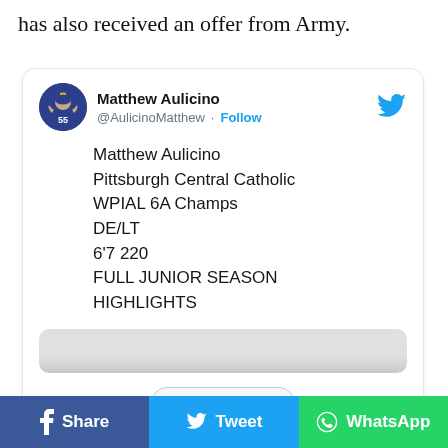has also received an offer from Army.
[Figure (screenshot): Embedded tweet from @AulicinoMatthew (Matthew Aulicino) with text: Matthew Aulicino / Pittsburgh Central Catholic / WPIAL 6A Champs / DE/LT / 6'7 220 / FULL JUNIOR SEASON HIGHLIGHTS. Includes a Read More button and Twitter bird icon.]
Share   Tweet   WhatsApp